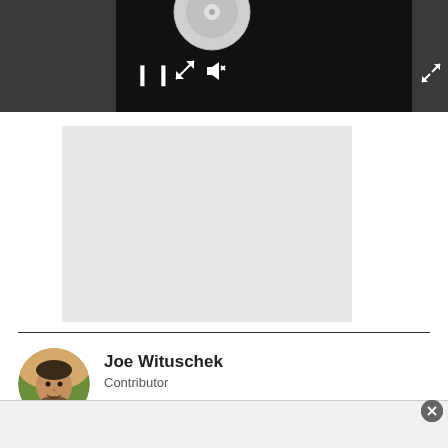[Figure (screenshot): Video player bar with dark background showing a vinyl/disc icon, pause button, resize/expand icon, and mute icon. A fullscreen expand arrow is visible at top right.]
[Figure (screenshot): Gray content area below the video bar, representing the video player content region.]
Joe Wituschek
Contributor
[Figure (photo): Circular profile photo of Joe Wituschek, a young man smiling, outdoors background.]
[Figure (screenshot): Social media icons: Twitter (blue circle) and Email (gray circle).]
[Figure (screenshot): Bottom overlay bar with close (X) button on the right side.]